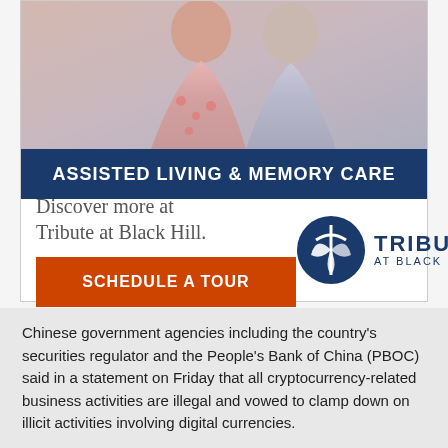[Figure (photo): Elderly couple in a care home setting with text 'connection.' visible at top right]
ASSISTED LIVING & MEMORY CARE
Discover more at Tribute at Black Hill.
SCHEDULE A TOUR
[Figure (logo): Tribute at Black Hill logo with circular emblem and text]
Chinese government agencies including the country's securities regulator and the People's Bank of China (PBOC) said in a statement on Friday that all cryptocurrency-related business activities are illegal and vowed to clamp down on illicit activities involving digital currencies.
The agencies said that overseas crypto exchanges would be blocked from providing services to Chinese residents through the internet.